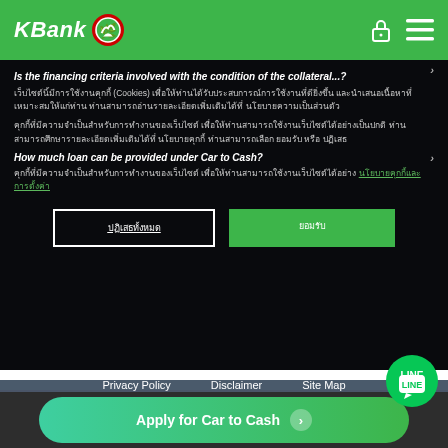KBank
Is the financing criteria involved with the condition of the collateral...?
เว็บไซต์นี้มีการใช้งานคุกกี้ (Cookies) เพื่อให้ท่านได้รับประสบการณ์การใช้งานที่ดียิ่งขึ้น และนำเสนอเนื้อหาที่เหมาะสมให้แก่ท่าน ท่านสามารถอ่านรายละเอียดเพิ่มเติมได้ที่ นโยบายความเป็นส่วนตัว
How much loan can be provided under Car to Cash?
คุกกี้ที่มีความจำเป็นสำหรับการทำงานของเว็บไซต์ เพื่อให้ท่านสามารถใช้งานเว็บไซต์ได้อย่างเป็นปกติ นโยบายคุกกี้
ปฏิเสธทั้งหมด
ยอมรับ
Privacy Policy   Disclaimer   Site Map
บริการทุกระดับประทับใจ
Apply for Car to Cash